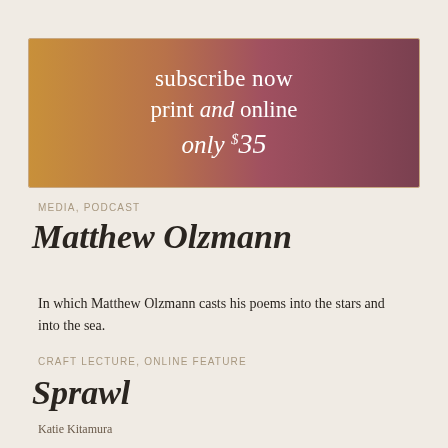[Figure (illustration): Subscription banner with warm orange-red gradient background showing a partial close-up of a person's eyes with glasses, with white text overlay reading 'subscribe now print and online only $35']
MEDIA, PODCAST
Matthew Olzmann
In which Matthew Olzmann casts his poems into the stars and into the sea.
CRAFT LECTURE, ONLINE FEATURE
Sprawl
Katie Kitamura